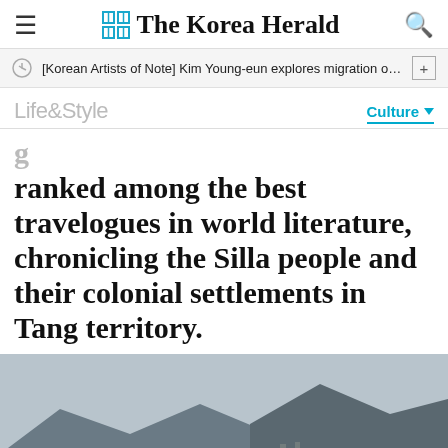The Korea Herald
[Korean Artists of Note] Kim Young-eun explores migration of sou···
Life&Style
ranked among the best travelogues in world literature, chronicling the Silla people and their colonial settlements in Tang territory.
[Figure (photo): Coastal landscape with rocky shoreline in foreground, calm water in middle ground, and mountains in background under overcast sky]
Senszio
Handmade by Expert Tailors
BOOK NOW